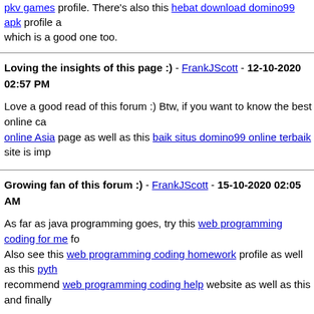pkv games profile. There's also this hebat download domino99 apk profile as well which is a good one too.
Loving the insights of this page :) - FrankJScott - 12-10-2020 02:57 PM
Love a good read of this forum :) Btw, if you want to know the best online ca... online Asia page as well as this baik situs domino99 online terbaik site is imp...
Growing fan of this forum :) - FrankJScott - 15-10-2020 02:05 AM
As far as java programming goes, try this web programming coding for me fo... Also see this web programming coding homework profile as well as this pyth... recommend web programming coding help website as well as this and finally...
Always a pleasure to read through this forum :) - FrankJScott - 20-10-20...
Pressfarm is just a media database that assists entrepreneurs discover edito... reporters and get outlined in start-up sites in minutes. Applying our press ou... various marketers, publications and types to find a very good match for the s...
Pressfarm will also support write e-mail pitches, push produces, content adv...
Pressfarm genuinely believe that narrowing down the subject to journalists w... much better than sending mass emails.
Huge fan of this this article :) - FrankJScott - 24-10-2020 01:58 PM